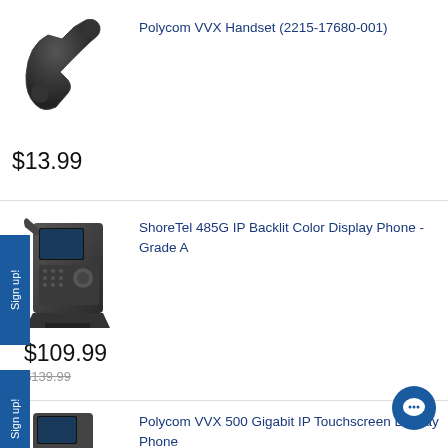[Figure (photo): Black Polycom VVX handset telephone receiver]
Polycom VVX Handset (2215-17680-001)
$13.99
[Figure (photo): ShoreTel 485G IP desk phone with color display, facing slightly left]
ShoreTel 485G IP Backlit Color Display Phone - Grade A
$109.99
$139.99 (strikethrough)
[Figure (photo): Polycom VVX 500 desk phone, partially visible at bottom]
Polycom VVX 500 Gigabit IP Touchscreen Display Phone